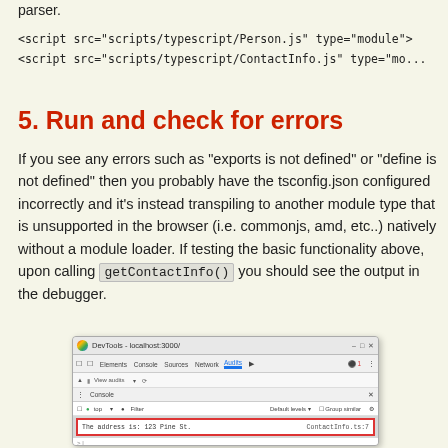parser.
<script src="scripts/typescript/Person.js" type="module">
<script src="scripts/typescript/ContactInfo.js" type="mo...
5. Run and check for errors
If you see any errors such as "exports is not defined" or "define is not defined" then you probably have the tsconfig.json configured incorrectly and it's instead transpiling to another module type that is unsupported in the browser (i.e. commonjs, amd, etc..) natively without a module loader. If testing the basic functionality above, upon calling getContactInfo() you should see the output in the debugger.
[Figure (screenshot): Chrome DevTools window showing the Console tab with a highlighted row: 'The address is: 123 Pine St.' on the left and 'ContactInfo.ts:7' on the right]